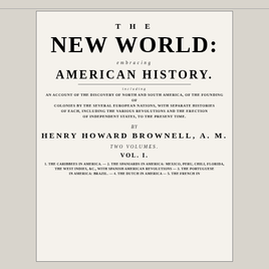THE NEW WORLD: EMBRACING AMERICAN HISTORY.
AN ACCOUNT OF THE DISCOVERY OF NORTH AND SOUTH AMERICA, OF THE FOUNDING OF COLONIES BY THE SEVERAL EUROPEAN NATIONS, WITH SEPARATE HISTORIES OF EACH, INCLUDING THE VARIOUS REVOLUTIONS AND THE ERECTION OF INDEPENDENT STATES, TO THE PRESENT TIME.
BY
HENRY HOWARD BROWNELL, A. M.
TWO VOLUMES.
VOL. I.
1. The Caribbees in America. — 2. The Spaniards in America: Mexico, Peru, Chili, Florida, The West Indies, &c., with Spanish American Revolutions — 3. The Portuguese in America: Brazil. — 4. The Dutch in America — 5. The French in